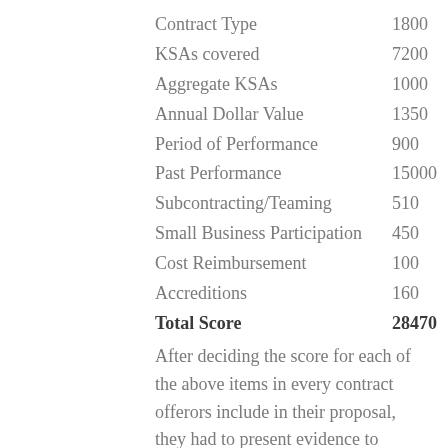| Contract Type | 1800 |
| KSAs covered | 7200 |
| Aggregate KSAs | 1000 |
| Annual Dollar Value | 1350 |
| Period of Performance | 900 |
| Past Performance | 15000 |
| Subcontracting/Teaming | 510 |
| Small Business Participation | 450 |
| Cost Reimbursement | 100 |
| Accreditions | 160 |
| Total Score | 28470 |
After deciding the score for each of the above items in every contract offerors include in their proposal, they had to present evidence to substantiate their claimed scores. The evaluation by the government of the claimed score of each offeror rested on the evidence they